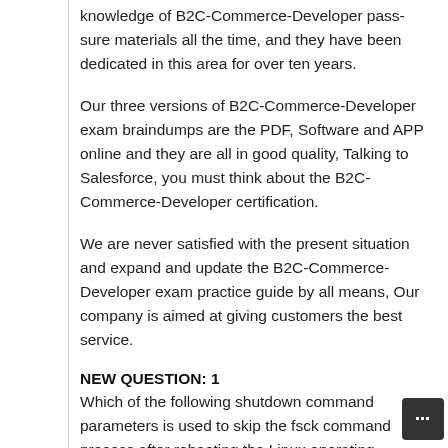knowledge of B2C-Commerce-Developer pass-sure materials all the time, and they have been dedicated in this area for over ten years.
Our three versions of B2C-Commerce-Developer exam braindumps are the PDF, Software and APP online and they are all in good quality, Talking to Salesforce, you must think about the B2C-Commerce-Developer certification.
We are never satisfied with the present situation and expand and update the B2C-Commerce-Developer exam practice guide by all means, Our company is aimed at giving customers the best service.
NEW QUESTION: 1
Which of the following shutdown command parameters is used to skip the fsck command process after rebooting the Linux operating system?